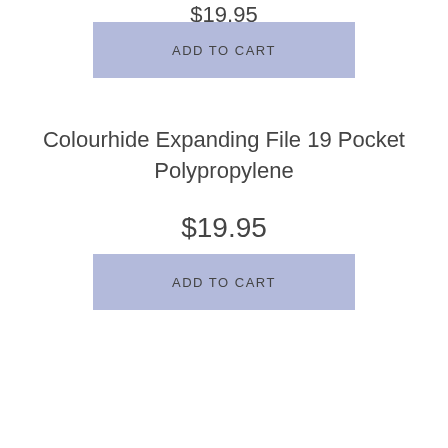$19.95
ADD TO CART
Colourhide Expanding File 19 Pocket Polypropylene
$19.95
ADD TO CART